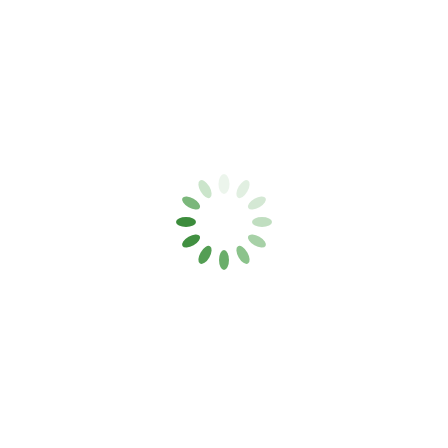[Figure (illustration): A loading spinner icon consisting of 12 oval/teardrop shaped dashes arranged in a circle. The dashes transition from nearly white at the top, through light green, to medium green, to dark green at the bottom-left, forming a gradient that simulates a spinning animation.]